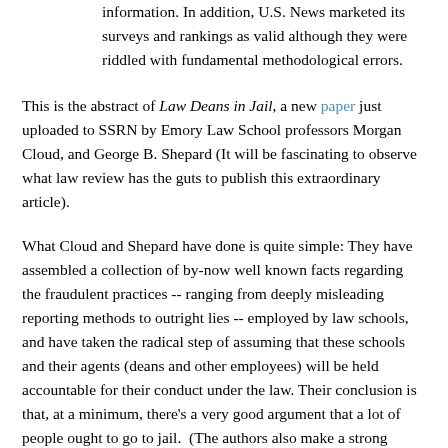information. In addition, U.S. News marketed its surveys and rankings as valid although they were riddled with fundamental methodological errors.
This is the abstract of Law Deans in Jail, a new paper just uploaded to SSRN by Emory Law School professors Morgan Cloud, and George B. Shepard (It will be fascinating to observe what law review has the guts to publish this extraordinary article).
What Cloud and Shepard have done is quite simple: They have assembled a collection of by-now well known facts regarding the fraudulent practices -- ranging from deeply misleading reporting methods to outright lies -- employed by law schools, and have taken the radical step of assuming that these schools and their agents (deans and other employees) will be held accountable for their conduct under the law. Their conclusion is that, at a minimum, there's a very good argument that a lot of people ought to go to jail.  (The authors also make a strong argument that USNWR and its agents should also be subject to criminal liability for both encouraging and enabling these fraudulent practices).